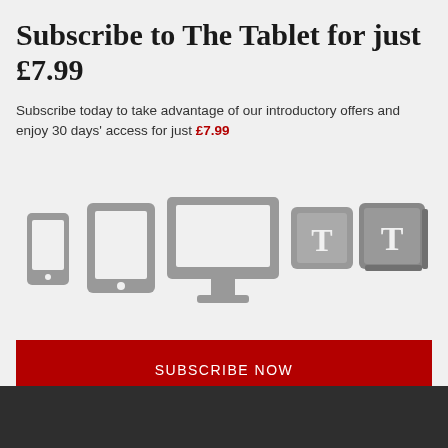Subscribe to The Tablet for just £7.99
Subscribe today to take advantage of our introductory offers and enjoy 30 days' access for just £7.99
[Figure (illustration): Five device icons in grey: smartphone, tablet, desktop monitor, and two square icons with the letter T (representing app icons)]
SUBSCRIBE NOW